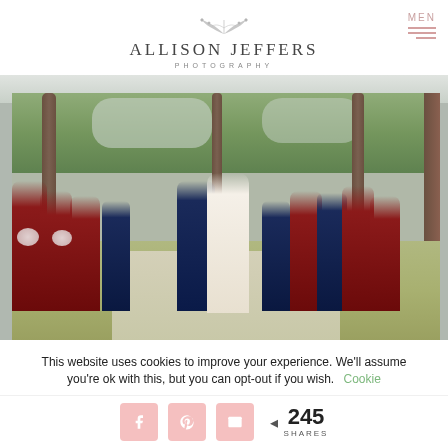[Figure (logo): Allison Jeffers Photography logo with decorative leaf/branch element above the name]
[Figure (photo): Wedding party photo outdoors under large oak trees. Bride in white gown, groom in navy suit, bridesmaids in burgundy/crimson dresses holding bouquets, groomsmen in navy suits with red ties, all walking together on a path.]
This website uses cookies to improve your experience. We'll assume you're ok with this, but you can opt-out if you wish. Cookie
245 SHARES